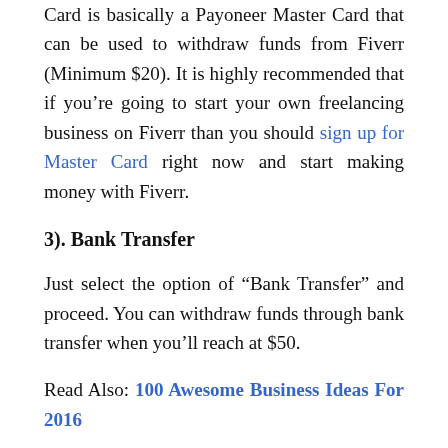Card is basically a Payoneer Master Card that can be used to withdraw funds from Fiverr (Minimum $20). It is highly recommended that if you’re going to start your own freelancing business on Fiverr than you should sign up for Master Card right now and start making money with Fiverr.
3). Bank Transfer
Just select the option of “Bank Transfer” and proceed. You can withdraw funds through bank transfer when you’ll reach at $50.
Read Also: 100 Awesome Business Ideas For 2016